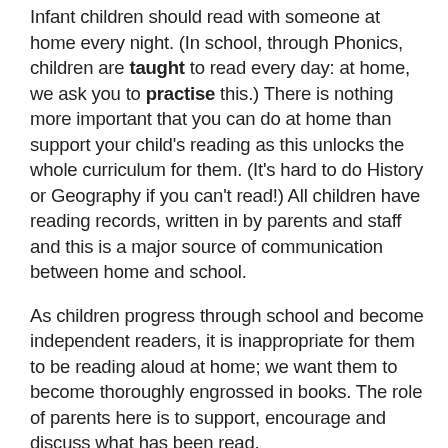Infant children should read with someone at home every night. (In school, through Phonics, children are taught to read every day: at home, we ask you to practise this.) There is nothing more important that you can do at home than support your child's reading as this unlocks the whole curriculum for them. (It's hard to do History or Geography if you can't read!) All children have reading records, written in by parents and staff and this is a major source of communication between home and school.
As children progress through school and become independent readers, it is inappropriate for them to be reading aloud at home; we want them to become thoroughly engrossed in books. The role of parents here is to support, encourage and discuss what has been read.
In terms of Maths, it is important for children to learn number bonds and times tables. These can be done on car journeys, counting lamp posts on the walk home or cooking in the kitchen. “A little and often” pays dividends.